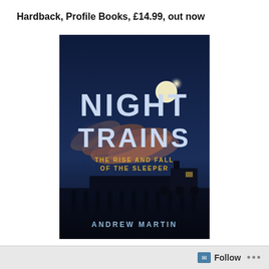Hardback, Profile Books, £14.99, out now
[Figure (photo): Book cover of 'Night Trains: The Rise and Fall of the Sleeper' by Andrew Martin. Dark blue background with a steam locomotive at night under a full moon, smoke billowing dramatically. Title in large white letters, subtitle in yellow, author name in light blue at bottom.]
This entertaining new book from railway expert Andrew
Follow